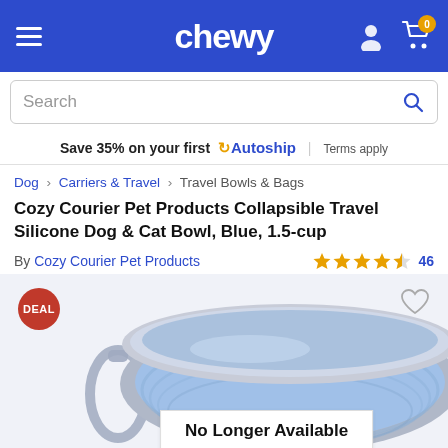chewy
Search
Save 35% on your first ↻Autoship | Terms apply
Dog > Carriers & Travel > Travel Bowls & Bags
Cozy Courier Pet Products Collapsible Travel Silicone Dog & Cat Bowl, Blue, 1.5-cup
By Cozy Courier Pet Products
★★★★½ 46
[Figure (photo): Blue collapsible silicone dog and cat travel bowl with gray rim and carabiner clip, displayed with a 'No Longer Available' overlay badge and a 'DEAL' red circle badge in the top left corner.]